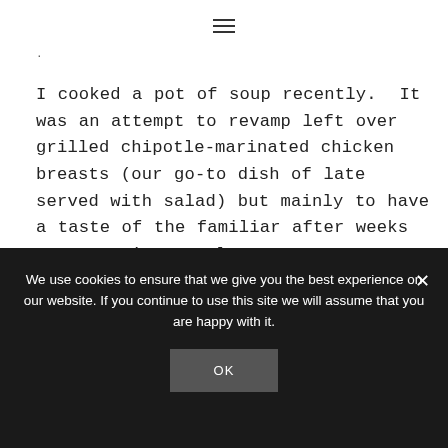☰
I cooked a pot of soup recently.  It was an attempt to revamp left over grilled chipotle-marinated chicken breasts (our go-to dish of late served with salad) but mainly to have a taste of the familiar after weeks spent eating mostly at restaurants.  This Chicken Tortilla Soup has been with me for years.  In fact, it's one of the first recipes I've ever
We use cookies to ensure that we give you the best experience on our website. If you continue to use this site we will assume that you are happy with it.
OK